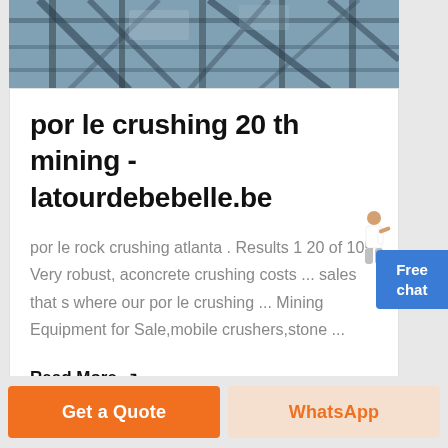[Figure (photo): Industrial/mining machinery overhead structure photo with steel beams and equipment]
por le crushing 20 th mining - latourdebebelle.be
por le rock crushing atlanta . Results 1 20 of 105 Very robust, aconcrete crushing costs ... sales that s where our por le crushing ... Mining Equipment for Sale,mobile crushers,stone ...
Read More ↗
Get a Quote
WhatsApp